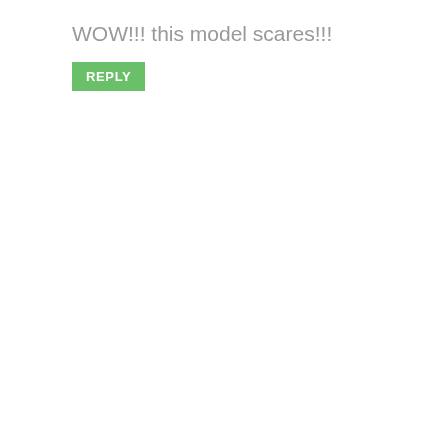WOW!!! this model scares!!!
REPLY